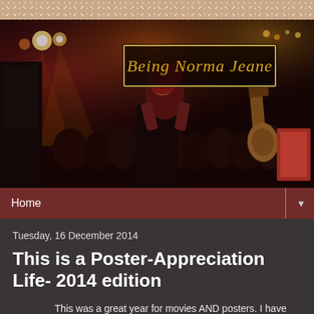[Figure (photo): Concert/festival crowd scene at night with stage lighting; woman in red hijab visible; blog header image for 'Being Norma Jeane' blog with gold script title in a bordered box overlay]
Home ▼
Tuesday, 16 December 2014
This is a Poster-Appreciation Life- 2014 edition
This was a great year for movies AND posters. I have pointed out some bad/boring posters in the past but I'm not going to do that this time because there are soooooooo